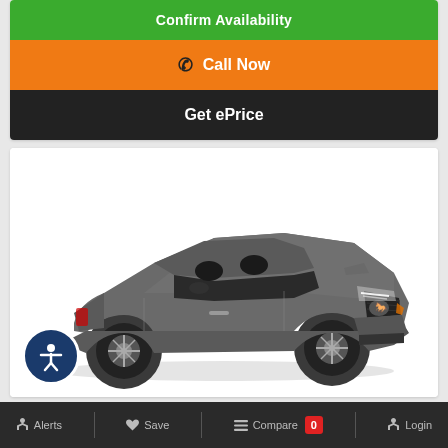[Figure (screenshot): Green button labeled 'Confirm Availability' at top of card]
[Figure (screenshot): Orange button with phone icon labeled 'Call Now']
[Figure (screenshot): Black button labeled 'Get ePrice']
[Figure (photo): Gray Ford Mustang convertible (top-down/open) on white background, front 3/4 view. Accessibility icon (person in circle) in bottom-left corner.]
Alerts   Save   Compare 0   Login